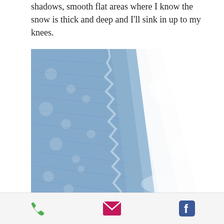shadows, smooth flat areas where I know the snow is thick and deep and I'll sink in up to my knees.
[Figure (photo): Aerial or close-up view of snow showing a contrast between a textured blue-shadowed snow surface on the left and a smooth bright white snow surface on the right, with a distinct diagonal boundary between the two areas.]
Phone, Email, and Facebook icons